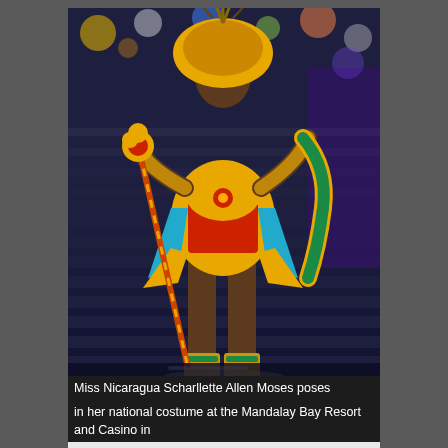[Figure (photo): Miss Nicaragua Scharllette Allen Moses on stage wearing an elaborate colorful national costume with gold, red, blue and teal elements, a large feathered headdress, and holding a decorative staff, walking on a runway at the Mandalay Bay Resort and Casino in Las Vegas during the Miss Universe 2010 pageant.]
Miss Nicaragua Scharllette Allen Moses poses in her national costume at the Mandalay Bay Resort and Casino in Las Vegas, Nevada August 16, 2010. The Miss Universe 2010